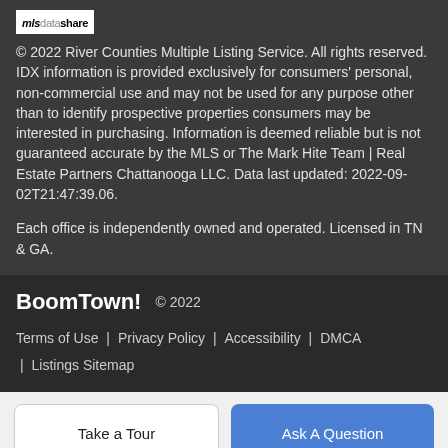[Figure (logo): mlsdatashare logo in white box]
© 2022 River Counties Multiple Listing Service. All rights reserved. IDX information is provided exclusively for consumers' personal, non-commercial use and may not be used for any purpose other than to identify prospective properties consumers may be interested in purchasing. Information is deemed reliable but is not guaranteed accurate by the MLS or The Mark Hite Team | Real Estate Partners Chattanooga LLC. Data last updated: 2022-09-02T21:47:39.06.

Each office is independently owned and operated. Licensed in TN & GA.
BoomTown!  © 2022
Terms of Use | Privacy Policy | Accessibility | DMCA | Listings Sitemap
Take a Tour
Ask A Question